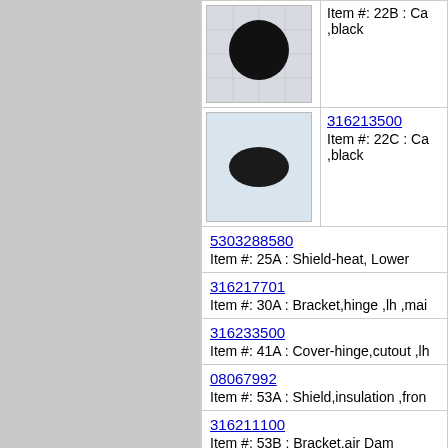[Figure (photo): Black circular cap part on grid background]
Item #: 22B : Ca ,black
[Figure (photo): Black oval/elliptical cap part on light background]
316213500
Item #: 22C : Ca ,black
5303288580
Item #: 25A : Shield-heat, Lower
316217701
Item #: 30A : Bracket,hinge ,lh ,mai
316233500
Item #: 41A : Cover-hinge,cutout ,lh
08067992
Item #: 53A : Shield,insulation ,from
316211100
Item #: 53B : Bracket,air Dam
316047705
Item #: 58A : Insulation, Oven Wrap
316218303
Item #: 58B : Insulation,oven Back